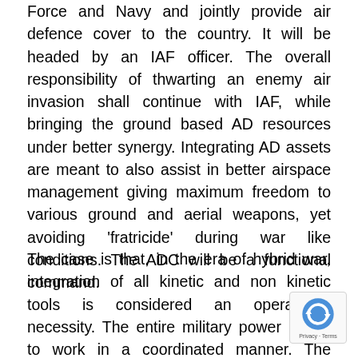Force and Navy and jointly provide air defence cover to the country. It will be headed by an IAF officer. The overall responsibility of thwarting an enemy air invasion shall continue with IAF, while bringing the ground based AD resources under better synergy. Integrating AD assets are meant to also assist in better airspace management giving maximum freedom to various ground and aerial weapons, yet avoiding 'fratricide' during war like conditions. The ADC will be a functional command.
The case is that, in the era of hybrid war, integration of all kinetic and non kinetic tools is considered an operational necessity. The entire military power needs to work in a coordinated manner. The armed forces need to relook at the structure for better synergy and integration. Tri services ADC is the first off the block. The key elements of AD are the ability to detect and